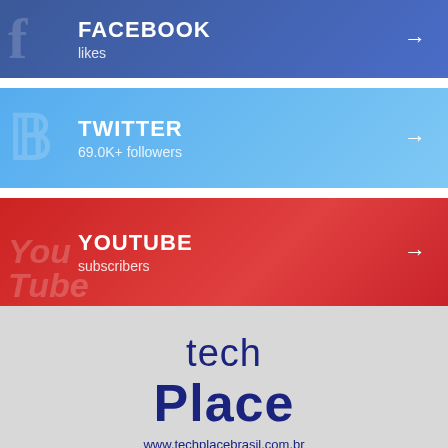[Figure (infographic): Facebook social media banner with dark blue gradient background, watermark Facebook 'f' logo, text FACEBOOK and likes, arrow pointing right]
[Figure (infographic): Twitter social media banner with light blue gradient background, watermark Twitter bird logo, text TWITTER and 69.0K+ followers, arrow pointing right]
[Figure (infographic): YouTube social media banner with red gradient background, watermark YouTube logo text, text YOUTUBE and subscribers, arrow pointing right]
[Figure (logo): techPlace logo with text 'tech' in light weight and 'Place' in bold, dark navy blue color on light gray background, URL www.techplacebrasil.com.br below]